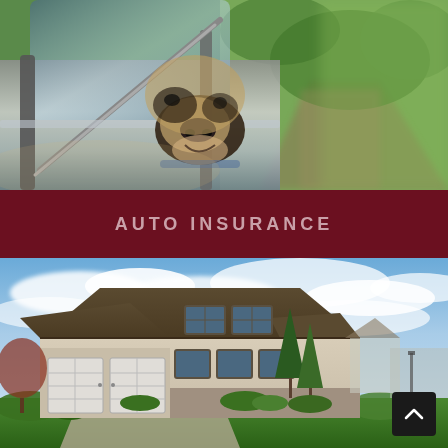[Figure (photo): Close-up photo of a dog's face looking through a car window, with blurred outdoor background of greenery and a path.]
AUTO INSURANCE
[Figure (photo): Photo of a large suburban craftsman-style house with double garage doors, manicured lawn, green trees, and a partly cloudy blue sky in the background.]